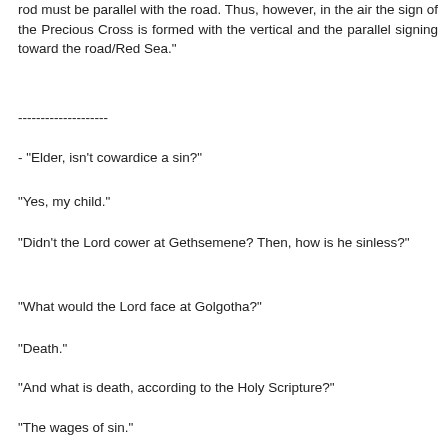rod must be parallel with the road. Thus, however, in the air the sign of the Precious Cross is formed with the vertical and the parallel signing toward the road/Red Sea."
--------------------
- "Elder, isn't cowardice a sin?"
"Yes, my child."
"Didn't the Lord cower at Gethsemene? Then, how is he sinless?"
"What would the Lord face at Golgotha?"
"Death."
"And what is death, according to the Holy Scripture?"
"The wages of sin."
"Well, what relation did the God-Man have with sin and its